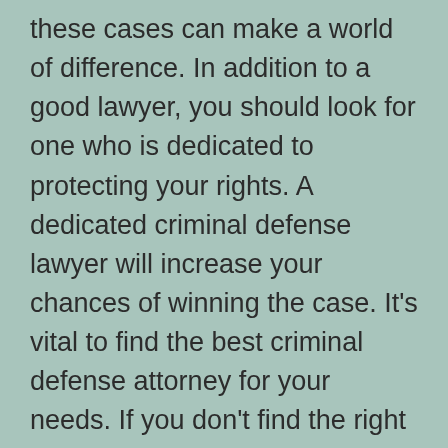hiring a lawyer who has experience handling these cases can make a world of difference. In addition to a good lawyer, you should look for one who is dedicated to protecting your rights. A dedicated criminal defense lawyer will increase your chances of winning the case. It's vital to find the best criminal defense attorney for your needs. If you don't find the right criminal defense lawyer for your case, you may need to hire someone who specializes in your particular area of the law.
A criminal defense lawyer can be invaluable in helping you navigate the legal system. Unless